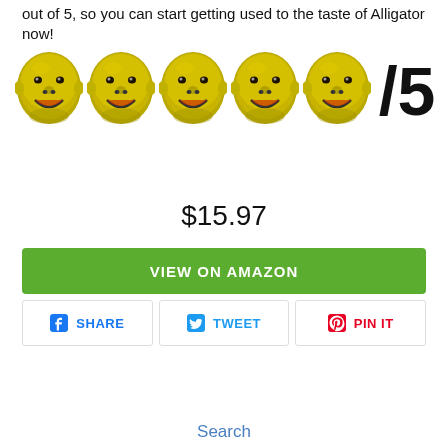out of 5, so you can start getting used to the taste of Alligator now!
[Figure (illustration): Five yellow/gold stylized smiling faces (Bezos heads) used as a rating system, followed by '/5' in large bold text]
$15.97
VIEW ON AMAZON
SHARE
TWEET
PIN IT
Search